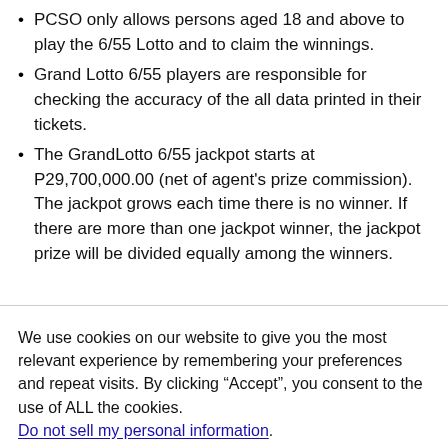PCSO only allows persons aged 18 and above to play the 6/55 Lotto and to claim the winnings.
Grand Lotto 6/55 players are responsible for checking the accuracy of the all data printed in their tickets.
The GrandLotto 6/55 jackpot starts at P29,700,000.00 (net of agent's prize commission). The jackpot grows each time there is no winner. If there are more than one jackpot winner, the jackpot prize will be divided equally among the winners.
We use cookies on our website to give you the most relevant experience by remembering your preferences and repeat visits. By clicking “Accept”, you consent to the use of ALL the cookies.
Do not sell my personal information.